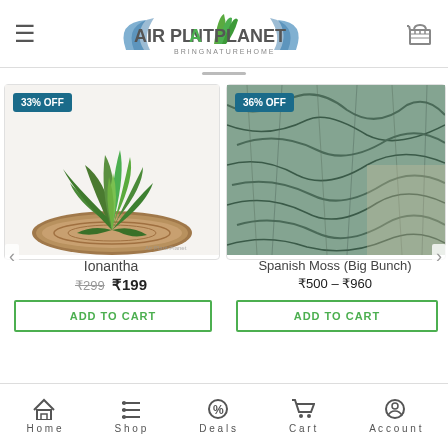Air Plant Planet — BRINGNATUREHOME
[Figure (photo): Ionantha air plant on a wood slice, with 33% OFF badge]
Ionantha
₹299  ₹199
ADD TO CART
[Figure (photo): Spanish Moss big bunch close-up, with 36% OFF badge]
Spanish Moss (Big Bunch)
₹500 – ₹960
ADD TO CART
Home  Shop  Deals  Cart  Account